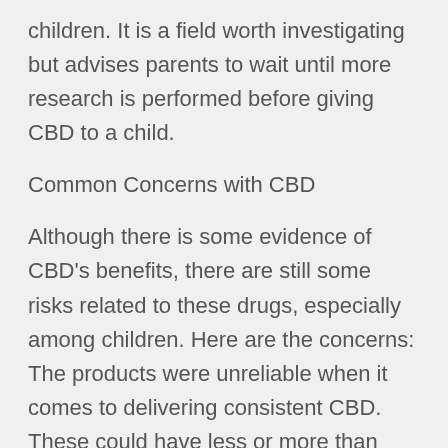of mental health issues for adolescents and children. It is a field worth investigating but advises parents to wait until more research is performed before giving CBD to a child.
Common Concerns with CBD
Although there is some evidence of CBD's benefits, there are still some risks related to these drugs, especially among children. Here are the concerns: The products were unreliable when it comes to delivering consistent CBD. These could have less or more than marketed, and most don't provide effective product independent verification. Brand research for sale reveals that many exceed the volume of CBD they sell. You